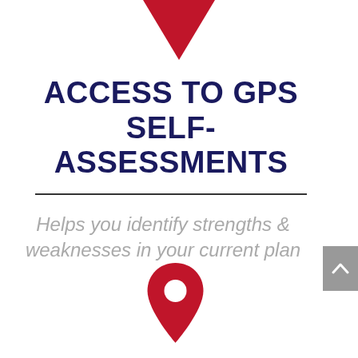[Figure (illustration): Red downward-pointing triangle/arrow at top center of page]
ACCESS TO GPS SELF-ASSESSMENTS
Helps you identify strengths & weaknesses in your current plan
[Figure (illustration): Red map location pin icon at bottom center of page]
[Figure (illustration): Gray navigation button with upward caret arrow on right side]